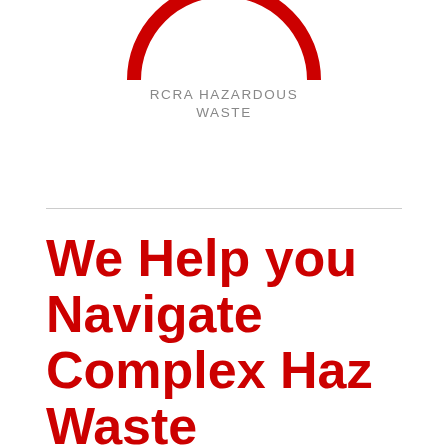[Figure (logo): Red arc/circle logo at top center (partially cropped), with text RCRA HAZARDOUS WASTE below it in gray lettering]
We Help you Navigate Complex Haz Waste Regulations